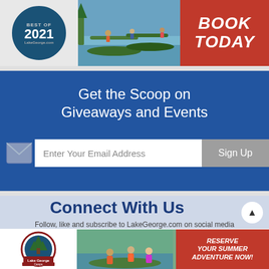[Figure (photo): Top banner with Best of 2021 badge, canoe/camp photo, and red BOOK TODAY call to action]
Get the Scoop on Giveaways and Events
Enter Your Email Address
Sign Up
Connect With Us
Follow, like and subscribe to LakeGeorge.com on social media
[Figure (logo): Social media icons: Facebook, Twitter, Pinterest, Instagram, YouTube]
[Figure (photo): Bottom banner with Lake George Camps logo, canoe photo, and RESERVE YOUR SUMMER ADVENTURE NOW! red CTA]